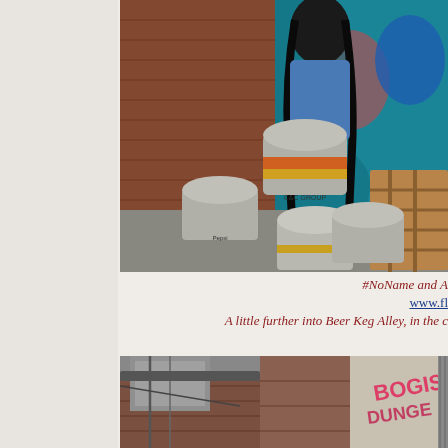[Figure (photo): Beer kegs stacked in an alley against a brick wall with colorful graffiti mural. A person with long dark hair is visible at the top. Multiple metal beer kegs with colored bands (orange, yellow) and a wooden pallet are visible.]
#NoName and A... www.fl... A little further into Beer Keg Alley, in the c...
[Figure (photo): Street alley scene with old brick buildings, weathered walls, and graffiti. Pink/red graffiti text is visible on the right side of the image.]